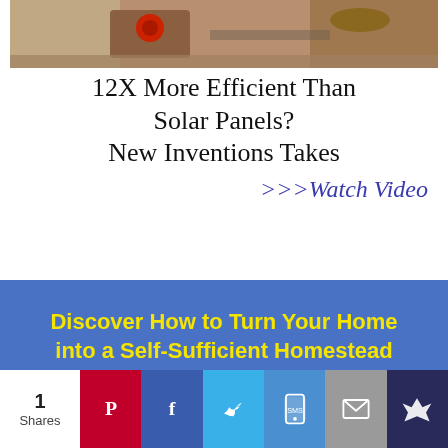[Figure (photo): Photo of tools/solar panel hardware on wooden surface]
12X More Efficient Than Solar Panels?
New Inventions Takes
>>>Watch Video
[Figure (infographic): Blue banner with yellow bold text: Discover How to Turn Your Home into a Self-Sufficient Homestead]
1 Shares | Pinterest | Facebook | Twitter | SMS | Email | More